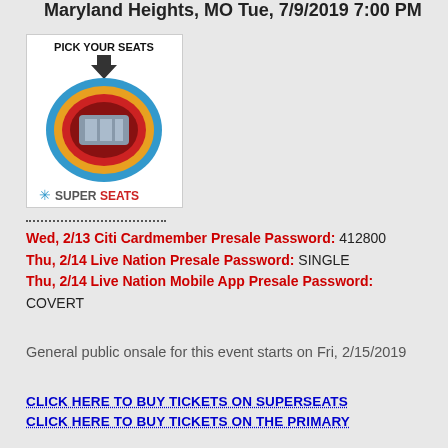Maryland Heights, MO Tue, 7/9/2019 7:00 PM
[Figure (other): Seating chart image showing arena layout with PICK YOUR SEATS label and SuperSeats branding]
Wed, 2/13 Citi Cardmember Presale Password: 412800
Thu, 2/14 Live Nation Presale Password: SINGLE
Thu, 2/14 Live Nation Mobile App Presale Password: COVERT
General public onsale for this event starts on Fri, 2/15/2019
CLICK HERE TO BUY TICKETS ON SUPERSEATS
CLICK HERE TO BUY TICKETS ON THE PRIMARY